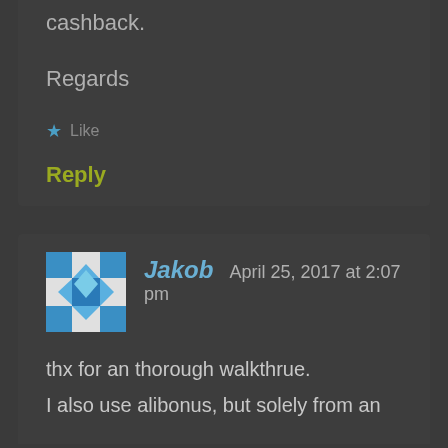cashback.
Regards
★ Like
Reply
Jakob   April 25, 2017 at 2:07 pm
thx for an thorough walkthrue.
I also use alibonus, but solely from an